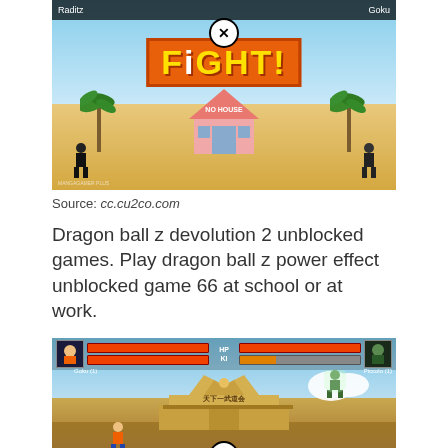[Figure (screenshot): Dragon Ball Z game screenshot showing 'FIGHT!' text with two characters on a beach scene with palm trees and a house]
Source: cc.cu2co.com
Dragon ball z devolution 2 unblocked games. Play dragon ball z power effect unblocked game 66 at school or at work.
[Figure (screenshot): Dragon Ball Z game screenshot showing Goku (1) vs Piccolo (1) with HP and KI bars, fighting at a temple]